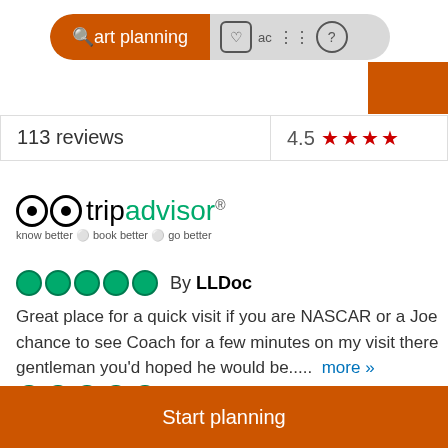[Figure (screenshot): TripAdvisor website screenshot showing search bar with 'Start planning' orange button, icons for saved places and activities, and an orange block in top right]
113 reviews
[Figure (logo): TripAdvisor logo with owl eyes, 'trip' in black and 'advisor' in green, tagline 'know better • book better • go better']
By LLDoc
Great place for a quick visit if you are NASCAR or a Joe chance to see Coach for a few minutes on my visit there gentleman you'd hoped he would be.....  more »
By rikoastles
Nice seeing the trophies, cars from Kyle, Denny and Mar
[Figure (screenshot): Orange 'Start planning' button at bottom of page]